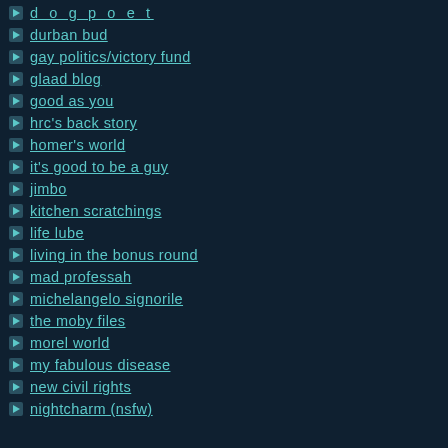d o g p o e t
durban bud
gay politics/victory fund
glaad blog
good as you
hrc's back story
homer's world
it's good to be a guy
jimbo
kitchen scratchings
life lube
living in the bonus round
mad professah
michelangelo signorile
the moby files
morel world
my fabulous disease
new civil rights
nightcharm (nsfw)